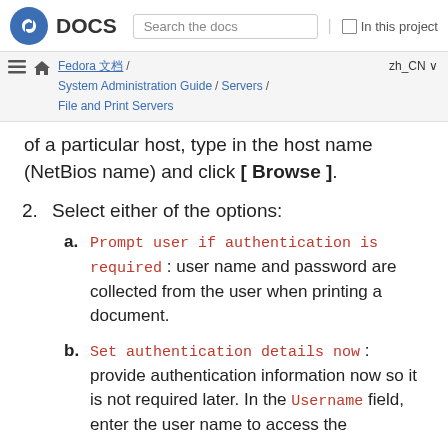DOCS | Search the docs | In this project
Fedora 文档 / System Administration Guide / Servers / File and Print Servers | zh_CN
of a particular host, type in the host name (NetBios name) and click [ Browse ].
2.  Select either of the options:
a.  Prompt user if authentication is required : user name and password are collected from the user when printing a document.
b.  Set authentication details now : provide authentication information now so it is not required later. In the  Username field, enter the user name to access the